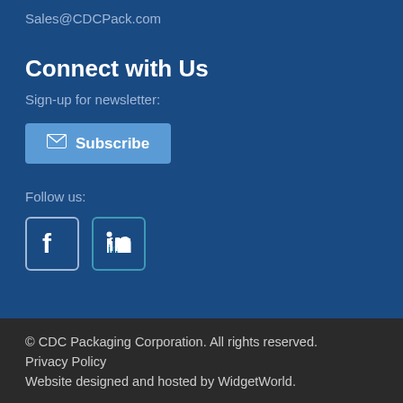Sales@CDCPack.com
Connect with Us
Sign-up for newsletter:
Subscribe
Follow us:
[Figure (logo): Facebook and LinkedIn social media icons]
© CDC Packaging Corporation. All rights reserved.
Privacy Policy
Website designed and hosted by WidgetWorld.